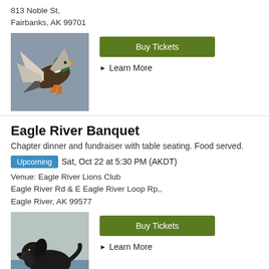813 Noble St,
Fairbanks, AK 99701
[Figure (photo): Duck in flight with wings spread, green-headed mallard duck flying]
Buy Tickets
Learn More
Eagle River Banquet
Chapter dinner and fundraiser with table seating. Food served.
Upcoming  Sat, Oct 22 at 5:30 PM (AKDT)
Venue: Eagle River Lions Club
Eagle River Rd & E Eagle River Loop Rp,,
Eagle River, AK 99577
[Figure (photo): Black Labrador dog near water]
Buy Tickets
Learn More
Copper Delta DU Banquet